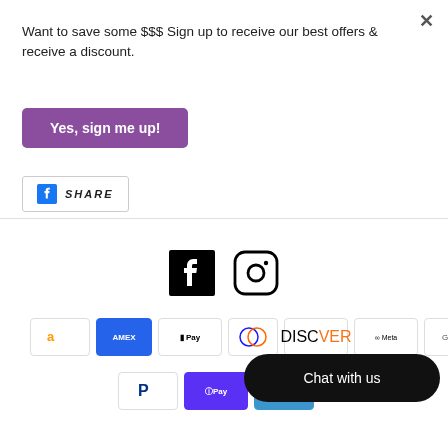Want to save some $$$ Sign up to receive our best offers & receive a discount.
Yes, sign me up!
[Figure (logo): Facebook share button with Facebook icon and text SHARE]
[Figure (logo): Facebook and Instagram social media icons]
[Figure (logo): Payment method icons: Amazon, Amex, Apple Pay, Diners Club, Discover, Meta Pay, Google Pay, Mastercard, PayPal, Shop Pay, Venmo]
Chat with us